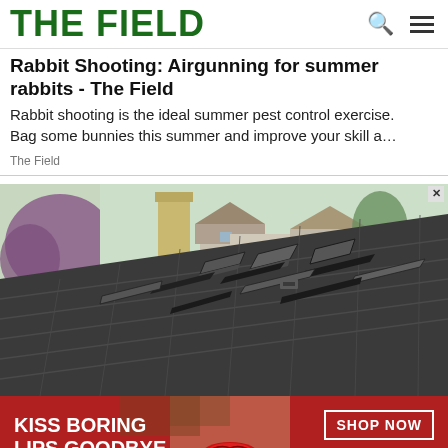THE FIELD
Rabbit Shooting: Airgunning for summer rabbits - The Field
Rabbit shooting is the ideal summer pest control exercise. Bag some bunnies this summer and improve your skill a…
The Field
[Figure (photo): Photo of a damaged roof with broken and lifted dark shingles, with trees and houses visible in the background]
[Figure (photo): Advertisement banner: KISS BORING LIPS GOODBYE with a close-up of a woman's lips with red lipstick. SHOP NOW button and macy's logo on the right.]